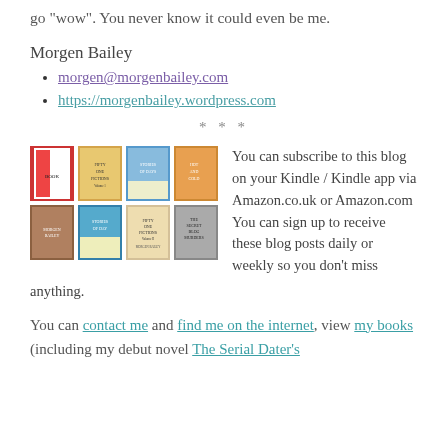go “wow”. You never know it could even be me.
Morgen Bailey
morgen@morgenbailey.com
https://morgenbailey.wordpress.com
* * *
[Figure (photo): Grid of 8 book cover images arranged in 2 rows of 4]
You can subscribe to this blog on your Kindle / Kindle app via Amazon.co.uk or Amazon.com You can sign up to receive these blog posts daily or weekly so you don’t miss anything.
You can contact me and find me on the internet, view my books (including my debut novel The Serial Dater’s